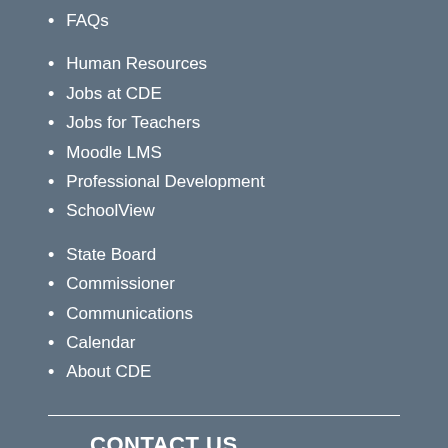FAQs
Human Resources
Jobs at CDE
Jobs for Teachers
Moodle LMS
Professional Development
SchoolView
State Board
Commissioner
Communications
Calendar
About CDE
CONTACT US
Colorado Dept. of Education
201 East Colfax Ave.
Denver, CO 80203
Phone: 303-866-6600
Fax: 303-830-0793
Contact CDE
CDE Hours